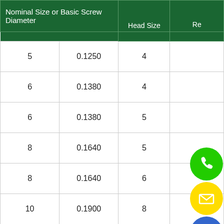| Nominal Size or Basic Screw Diameter |  | Head Size | Re |
| --- | --- | --- | --- |
| 5 | 0.1250 | 4 |  |
| 6 | 0.1380 | 4 |  |
| 6 | 0.1380 | 5 |  |
| 8 | 0.1640 | 5 |  |
| 8 | 0.1640 | 6 |  |
| 10 | 0.1900 | 8 |  |
| 12 | 0.2160 | 8 |  |
| 12 | 0.2160 | 10 |  |